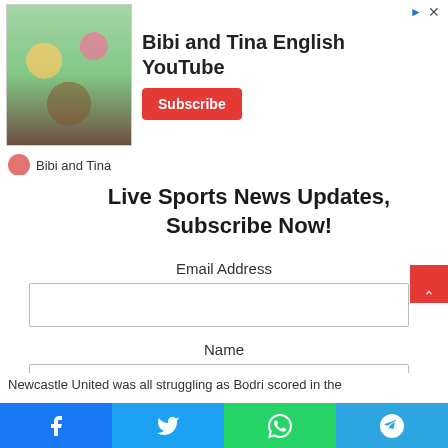[Figure (screenshot): Advertisement banner for Bibi and Tina English YouTube channel with animated image, channel title, and Subscribe button]
Bibi and Tina
Live Sports News Updates, Subscribe Now!
Email Address
Name
Subscribe
Newcastle United was all struggling as Bodri scored in the
[Figure (screenshot): Social media share buttons bar: Facebook, Twitter, WhatsApp, Telegram]